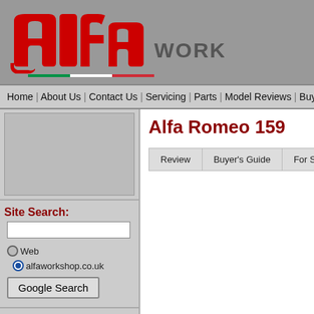[Figure (logo): Alfa Workshop logo with red stylized 'alfa' text and 'WORKSHOP' text, Italian flag stripe decoration]
Home | About Us | Contact Us | Servicing | Parts | Model Reviews | Buyers Gu...
[Figure (other): Gray advertisement/image placeholder in left sidebar]
Site Search:
Web   alfaworkshop.co.uk
Google Search
Top 5 model searches:
Alfa Romeo 156
Alfa Romeo 147
Alfa Romeo Brera
Alfa Romeo 159
Alfa Romeo MiTo
Alfa Romeo 159
Review | Buyer's Guide | For Sale